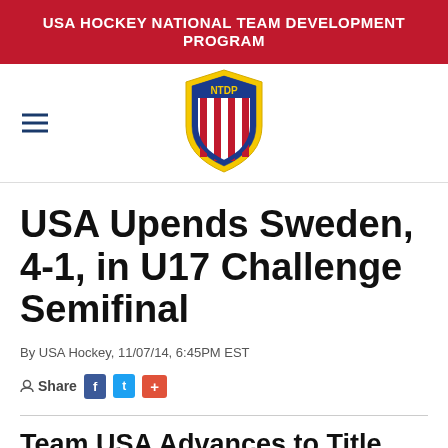USA HOCKEY NATIONAL TEAM DEVELOPMENT PROGRAM
[Figure (logo): NTDP shield logo with red and white stripes and blue border, text NTDP in blue]
USA Upends Sweden, 4-1, in U17 Challenge Semifinal
By USA Hockey, 11/07/14, 6:45PM EST
Share [Facebook] [Twitter] [+]
Team USA Advances to Title